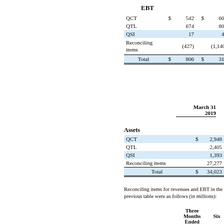EBT
|  | $ |  | $ |  | $ |
| --- | --- | --- | --- | --- | --- |
| QCT | $ | 542 | $ | 608 | $ | 1, |
| QTL |  | 674 |  | 809 |  | 1, |
| QSI |  | 17 |  | 40 |  |  |
| Reconciling items |  | (427) |  | (1,140) |  | (1, |
| Total | $ | 806 | $ | 317 | $ | 1, |
March 31
2019
Assets
|  | March 31, 2019 |
| --- | --- |
| QCT | $ | 2,948 |
| QTL |  | 2,405 |
| QSI |  | 1,393 |
| Reconciling items |  | 27,277 |
| Total | $ | 34,023 |
Reconciling items for revenues and EBT in the previous table were as follows (in millions):
| Three Months Ended | Six |
| --- | --- |
| March 31, 2019 | March 25, 2018 | Marc |